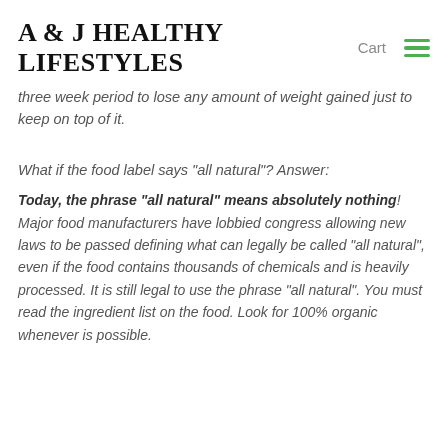A & J HEALTHY LIFESTYLES
three week period to lose any amount of weight gained just to keep on top of it.
What if the food label says "all natural"? Answer:
Today, the phrase "all natural" means absolutely nothing! Major food manufacturers have lobbied congress allowing new laws to be passed defining what can legally be called "all natural", even if the food contains thousands of chemicals and is heavily processed. It is still legal to use the phrase "all natural". You must read the ingredient list on the food. Look for 100% organic whenever is possible.